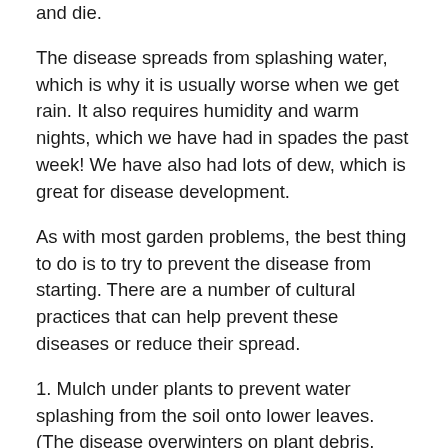and die.
The disease spreads from splashing water, which is why it is usually worse when we get rain. It also requires humidity and warm nights, which we have had in spades the past week! We have also had lots of dew, which is great for disease development.
As with most garden problems, the best thing to do is to try to prevent the disease from starting. There are a number of cultural practices that can help prevent these diseases or reduce their spread.
1. Mulch under plants to prevent water splashing from the soil onto lower leaves. (The disease overwinters on plant debris, often in the soil. No, there isn't any soil treatment.)
2. Use cages, staking, or some method to help your plants